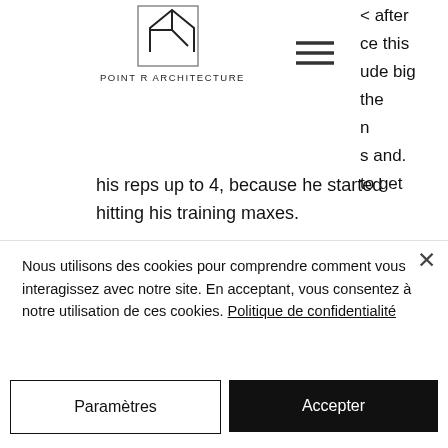[Figure (logo): Point R Architecture logo — geometric arrow/house shape in outline, with text 'POINT R ARCHITECTURE' below]
< after
ce this
ude big
the
n
s and.
to get
his reps up to 4, because he started hitting his training maxes.
As you progress through your training cycle, you start to see changes in your physique, crazy bulk cancel order. This will mean that the progress you made in your last cycle is now more of the same because of your
Nous utilisons des cookies pour comprendre comment vous interagissez avec notre site. En acceptant, vous consentez à notre utilisation de ces cookies. Politique de confidentialité
Paramètres
Accepter